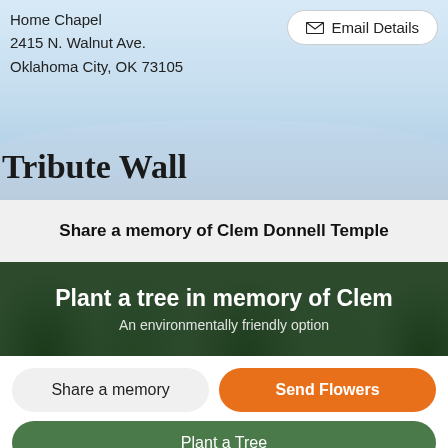Home Chapel
2415 N. Walnut Ave.
Oklahoma City, OK 73105
Email Details
Tribute Wall
Share a memory of Clem Donnell Temple
Plant a tree in memory of Clem
An environmentally friendly option
Share a memory
Send Flowers
Plant a Tree